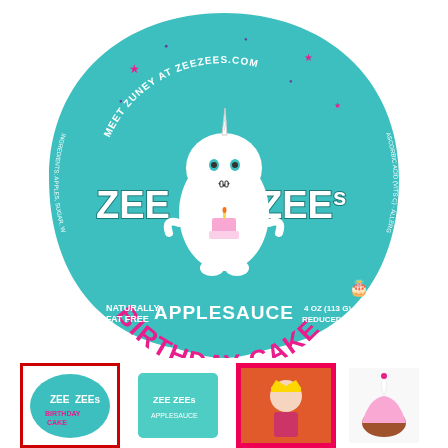[Figure (illustration): Zee Zees Birthday Cake Applesauce product label — a teal/turquoise rounded teardrop-shaped cup lid featuring a cartoon white narwhal unicorn character holding a birthday cake, with the brand name ZEE ZEEs in large white block letters, BIRTHDAY CAKE in large pink/magenta decorative font, NATURALLY FAT FREE APPLESAUCE 4 OZ (113g) REDUCED SUGAR text, MEET ZUNEY AT ZEEZEES.COM along the top arc, and ingredients/allergen info around the perimeter. Stars and dots decorate the background.]
[Figure (photo): Thumbnail row at bottom showing four small product/related images: first image (highlighted with red border) shows the Zee Zees lid from top/above angle in teal; second image partially visible shows another Zee Zees product variant; third image shows a girl wearing a birthday crown on a red/orange background; fourth image partially visible shows what appears to be a cupcake or dessert.]